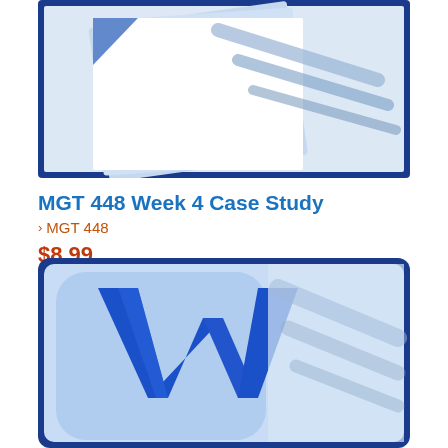[Figure (screenshot): Top portion of a Microsoft Word document icon - showing blue and dark blue bordered document with diagonal lines/pages fanning out]
MGT 448 Week 4 Case Study
› MGT 448
$8.99
ADD TO CART
[Figure (logo): Microsoft Word logo - large blue W on light blue rounded square background with dark blue border]